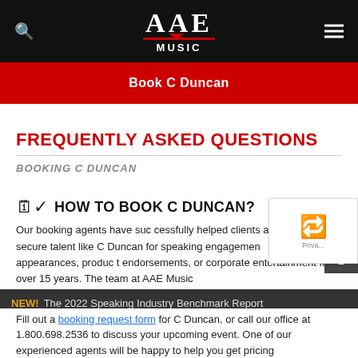AAE MUSIC — navigation header
Book C Duncan
FREQUENTLY ASKED QUESTIONS
BOOKING C DUNCAN
HOW TO BOOK C DUNCAN?
Our booking agents have successfully helped clients around the world secure talent like C Duncan for speaking engagements, personal appearances, product endorsements, or corporate entertainment for over 15 years. The team at AAE Music
Fill out a booking request form for C Duncan, or call our office at 1.800.698.2536 to discuss your upcoming event. One of our experienced agents will be happy to help you get pricing
NEW! The 2022 Speaking Industry Benchmark Report